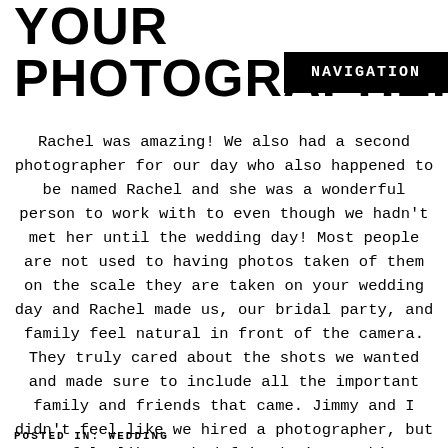YOUR PHOTOGRAPHER:
NAVIGATION
Rachel was amazing! We also had a second photographer for our day who also happened to be named Rachel and she was a wonderful person to work with to even though we hadn't met her until the wedding day! Most people are not used to having photos taken of them on the scale they are taken on your wedding day and Rachel made us, our bridal party, and family feel natural in front of the camera. They truly cared about the shots we wanted and made sure to include all the important family and friends that came. Jimmy and I didn't feel like we hired a photographer, but we felt like we had friends just taking photos of us all dressed up!
POSTED IN: WEDDING